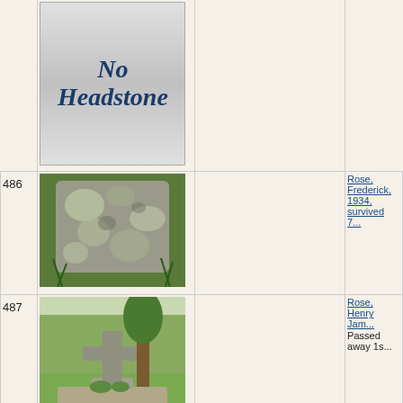[Figure (photo): No Headstone placeholder image with gradient background and italic text reading 'No Headstone']
486
[Figure (photo): Photo of an old weathered stone headstone with lichen, partially buried]
Rose, Frederick, 1934, survived 7...
487
[Figure (photo): Photo of a cross-shaped headstone monument in a grassy cemetery]
Rose, Henry Jam... Passed away 1s...
488
[Figure (photo): Photo of a flat stone headstone, partially visible at bottom of page]
Rose, Leslie Alb...